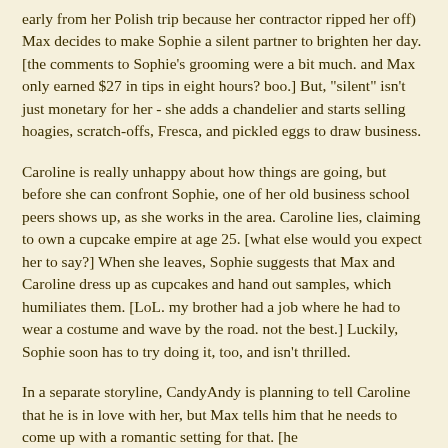early from her Polish trip because her contractor ripped her off) Max decides to make Sophie a silent partner to brighten her day. [the comments to Sophie's grooming were a bit much. and Max only earned $27 in tips in eight hours? boo.] But, "silent" isn't just monetary for her - she adds a chandelier and starts selling hoagies, scratch-offs, Fresca, and pickled eggs to draw business.
Caroline is really unhappy about how things are going, but before she can confront Sophie, one of her old business school peers shows up, as she works in the area. Caroline lies, claiming to own a cupcake empire at age 25. [what else would you expect her to say?] When she leaves, Sophie suggests that Max and Caroline dress up as cupcakes and hand out samples, which humiliates them. [LoL. my brother had a job where he had to wear a costume and wave by the road. not the best.] Luckily, Sophie soon has to try doing it, too, and isn't thrilled.
In a separate storyline, CandyAndy is planning to tell Caroline that he is in love with her, but Max tells him that he needs to come up with a romantic setting for that. [he